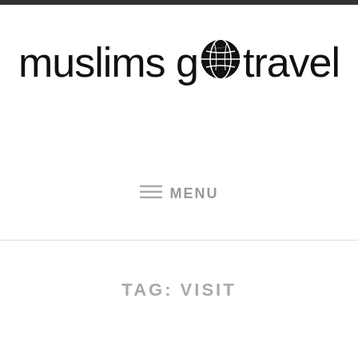[Figure (logo): Muslims Go Travel logo with globe icon replacing the letter 'o' in 'go']
≡ MENU
TAG: VISIT